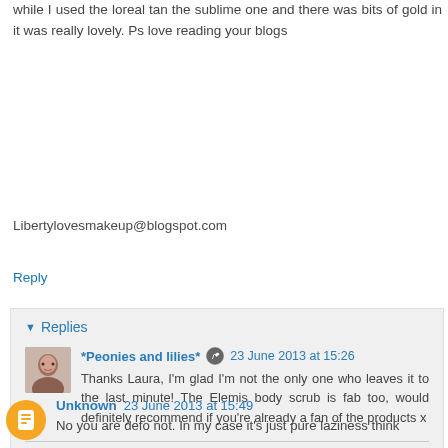while I used the loreal tan the sublime one and there was bits of gold in it was really lovely. Ps love reading your blogs
Libertylovesmakeup@blogspot.com
Reply
Replies
*Peonies and lilies*  23 June 2013 at 15:26
Thanks Laura, I'm glad I'm not the only one who leaves it to the last minute! The Elemis body scrub is fab too, would definitely recommend if you're already a fan of the products x
Reply
Unknown  23 June 2013 at 15:49
No you are defo not. In my case it's just pure laziness think